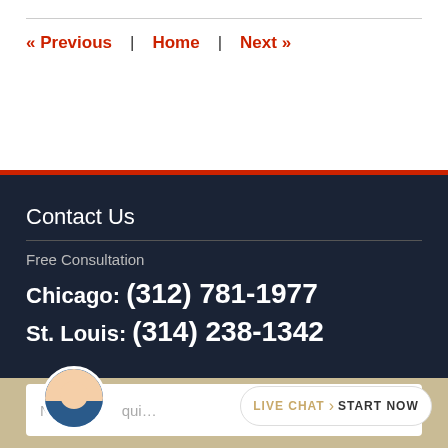« Previous  |  Home  |  Next »
Contact Us
Free Consultation
Chicago: (312) 781-1977
St. Louis: (314) 238-1342
Name  Inquiry
LIVE CHAT  START NOW